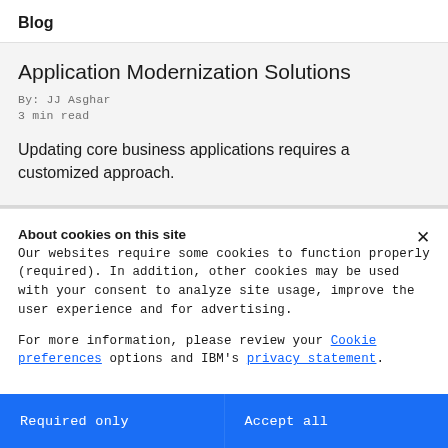Blog
Application Modernization Solutions
By: JJ Asghar
3 min read
Updating core business applications requires a customized approach.
About cookies on this site
Our websites require some cookies to function properly (required). In addition, other cookies may be used with your consent to analyze site usage, improve the user experience and for advertising.
For more information, please review your Cookie preferences options and IBM's privacy statement.